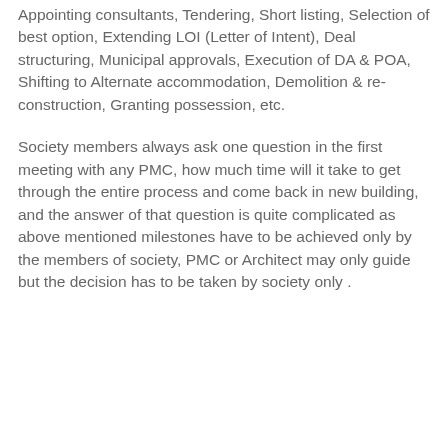Appointing consultants, Tendering, Short listing, Selection of best option, Extending LOI (Letter of Intent), Deal structuring, Municipal approvals, Execution of DA &amp; POA, Shifting to Alternate accommodation, Demolition & re-construction, Granting possession, etc.
Society members always ask one question in the first meeting with any PMC, how much time will it take to get through the entire process and come back in new building, and the answer of that question is quite complicated as above mentioned milestones have to be achieved only by the members of society, PMC or Architect may only guide but the decision has to be taken by society only .